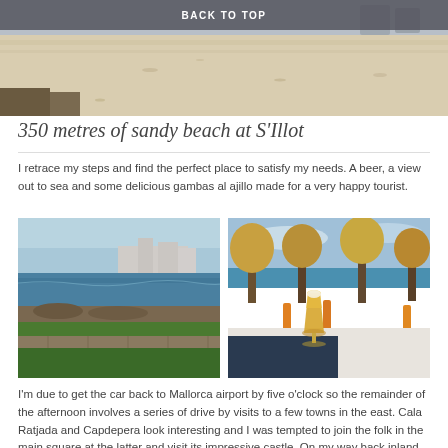BACK TO TOP
[Figure (photo): Wide sandy beach at S'Illot, Mallorca — pale sand with sparse debris, calm and flat, shot from ground level]
350 metres of sandy beach at S'Illot
I retrace my steps and find the perfect place to satisfy my needs. A beer, a view out to sea and some delicious gambas al ajillo made for a very happy tourist.
[Figure (photo): Coastal view with rocky shoreline, green grass in foreground, apartment buildings in background near sea]
[Figure (photo): Beer glass on a table at a terrace bar overlooking the sea, autumn trees in background]
I'm due to get the car back to Mallorca airport by five o'clock so the remainder of the afternoon involves a series of drive by visits to a few towns in the east. Cala Ratjada and Capdepera look interesting and I was tempted to join the folk in the main square at the latter and visit its impressive castle. On my way back inland Artà and Manacor